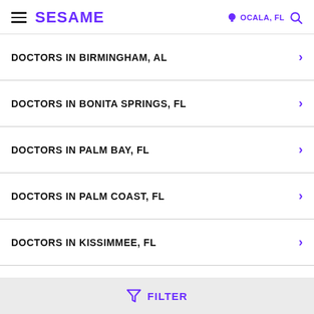SESAME | OCALA, FL
DOCTORS IN BIRMINGHAM, AL
DOCTORS IN BONITA SPRINGS, FL
DOCTORS IN PALM BAY, FL
DOCTORS IN PALM COAST, FL
DOCTORS IN KISSIMMEE, FL
FILTER